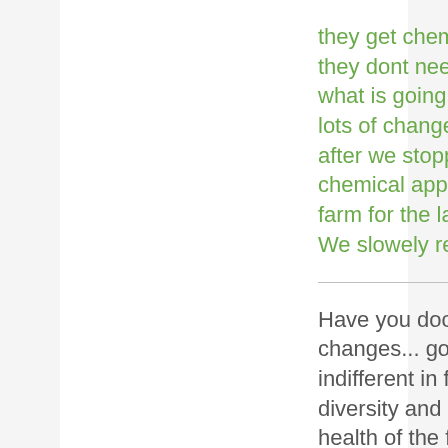they get chemical fertilizers they dont need to understand what is going on.... We see lots of changes in our farm after we stopped any chemical application in our farm for the last 10-13 years. We slowely reduced it.
Have you documented these changes... good b ad indifferent in flora, fauna diversity and crop yields, and health of the farm workers changes during use of and after stoppage of use of chemical